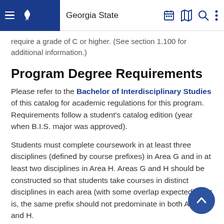Georgia State
require a grade of C or higher. (See section 1.100 for additional information.)
Program Degree Requirements
Please refer to the Bachelor of Interdisciplinary Studies of this catalog for academic regulations for this program. Requirements follow a student's catalog edition (year when B.I.S. major was approved).
Students must complete coursework in at least three disciplines (defined by course prefixes) in Area G and in at least two disciplines in Area H. Areas G and H should be constructed so that students take courses in distinct disciplines in each area (with some overlap expected); that is, the same prefix should not predominate in both Area G and H.
In addition to the Program Degree Requirements students must fulfill the College of Arts and Sciences